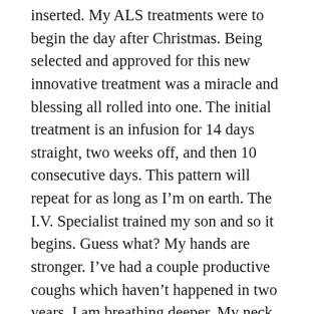inserted. My ALS treatments were to begin the day after Christmas. Being selected and approved for this new innovative treatment was a miracle and blessing all rolled into one. The initial treatment is an infusion for 14 days straight, two weeks off, and then 10 consecutive days. This pattern will repeat for as long as I'm on earth. The I.V. Specialist trained my son and so it begins. Guess what? My hands are stronger. I've had a couple productive coughs which haven't happened in two years. I am breathing deeper. My neck is stronger. I wiggled my right toe. Much to my husband's chagrin, my hands are lasting longer on the iPad games. He says I put the death grip on it at bedtime because I'm like a kid with my curfew.